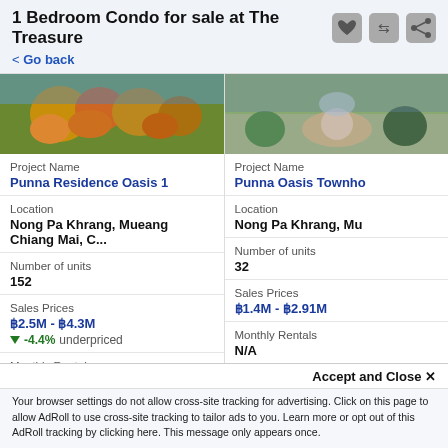1 Bedroom Condo for sale at The Treasure
< Go back
[Figure (photo): Photo of Punna Residence Oasis 1 property showing orange and red tropical plants/flowers]
[Figure (photo): Photo of Punna Oasis Townhouse property showing a fountain and green trees]
Project Name
Punna Residence Oasis 1
Project Name
Punna Oasis Townho
Location
Nong Pa Khrang, Mueang Chiang Mai, C...
Location
Nong Pa Khrang, Mu
Number of units
152
Number of units
32
Sales Prices
฿2.5M - ฿4.3M
▼ -4.4% underpriced
Sales Prices
฿1.4M - ฿2.91M
Monthly Rentals
N/A
Monthly Rentals
N/A
Accept and Close ✕
Your browser settings do not allow cross-site tracking for advertising. Click on this page to allow AdRoll to use cross-site tracking to tailor ads to you. Learn more or opt out of this AdRoll tracking by clicking here. This message only appears once.